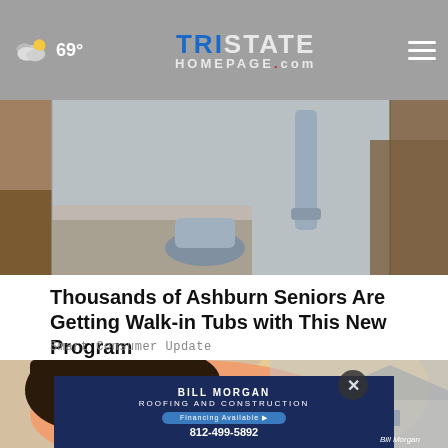69° — TristateHomepage.com
[Figure (photo): Bathroom interior showing a toilet, countertop, and pipes against a grey wall]
Thousands of Ashburn Seniors Are Getting Walk-in Tubs with This New Program
Smart Consumer Update
[Figure (illustration): Cartoon/animated illustration of a person sleeping or resting, close-up on face]
[Figure (photo): Bill Morgan Roofing and Construction advertisement banner showing house and company logo, phone number 812-499-5892]